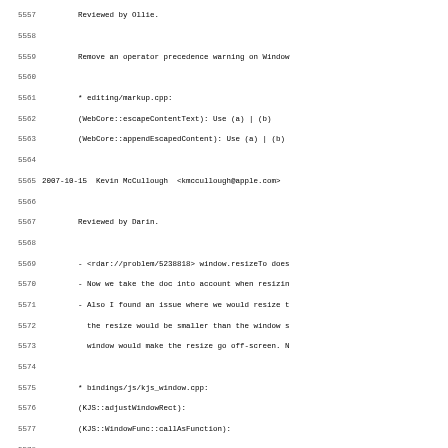Source code changelog/commit log lines 5557-5588+
5557: Reviewed by Ollie.
5558: (blank)
5559: Remove an operator precedence warning on Window
5560: (blank)
5561: * editing/markup.cpp:
5562: (WebCore::escapeContentText): Use (a) | (b)
5563: (WebCore::appendEscapedContent): Use (a) | (b)
5564: (blank)
5565: 2007-10-15  Kevin McCullough  <kmccullough@apple.com>
5566: (blank)
5567: Reviewed by Darin.
5568: (blank)
5569: - <rdar://problem/5238818> window.resizeTo does
5570: - Now we take the doc into account when resizin
5571: - Also I found an issue where we would resize t
5572:   the resize would be smaller than the window s
5573:   window would make the resize go off-screen. N
5574: (blank)
5575: * bindings/js/kjs_window.cpp:
5576: (KJS::adjustWindowRect):
5577: (KJS::WindowFunc::callAsFunction):
5578: (blank)
5579: 2007-10-15  Jon Honeycutt  <jhoneycutt@apple.com>
5580: (blank)
5581: Reviewed by Anders.
5582: (blank)
5583: <rdar://5510700> Repro crash loading embedded W
5584: content
5585: (blank)
5586: Anders noticed that the older Windows Media Pla
5587: will crash if it receives its resource requests
5588: were immediately fulfilling untargeted, non-Jav